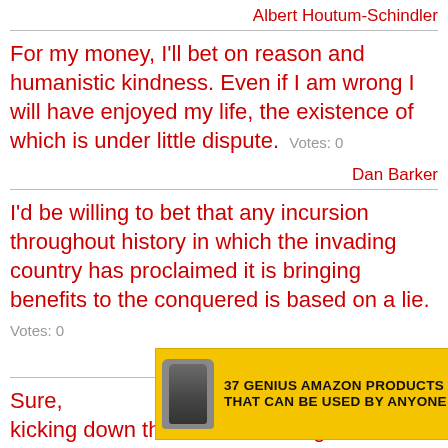Albert Houtum-Schindler
For my money, I'll bet on reason and humanistic kindness. Even if I am wrong I will have enjoyed my life, the existence of which is under little dispute.   Votes: 0
Dan Barker
I'd be willing to bet that any incursion throughout history in which the invading country has proclaimed it is bringing benefits to the conquered is based on a lie.   Votes: 0
Peter Shaffer
Sure, ... and kicking down the door will change their minds. Take Rose with you, and you guys'll make a
[Figure (other): Advertisement banner: '37 GENIUS AMAZON PRODUCTS THAT CAN BE USED BY ANYONE' on yellow background with a supplement bottle image and a blue circular badge with '22 WORDS']